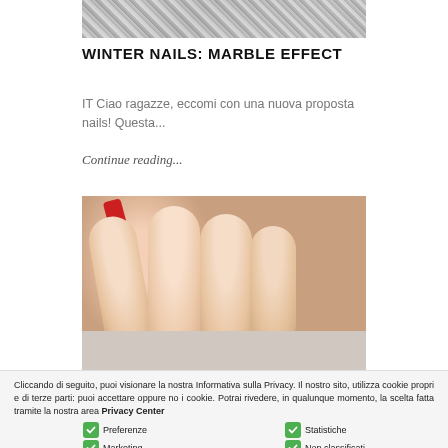[Figure (photo): Close-up photo of fabric/textile with knit pattern, grayscale texture at the top of the page]
WINTER NAILS: MARBLE EFFECT
IT Ciao ragazze, eccomi con una nuova proposta nails! Questa...
Continue reading...
[Figure (photo): Close-up photo of a hand with fingers shown, one fingernail painted red, skin tones in warm beige/peach, photographed against a gray surface]
Cliccando di seguito, puoi visionare la nostra Informativa sulla Privacy. Il nostro sito, utilizza cookie propri e di terze parti: puoi accettare oppure no i cookie. Potrai rivedere, in qualunque momento, la scelta fatta tramite la nostra area Privacy Center
Preferenze
Marketing
Statistiche
Non classificati